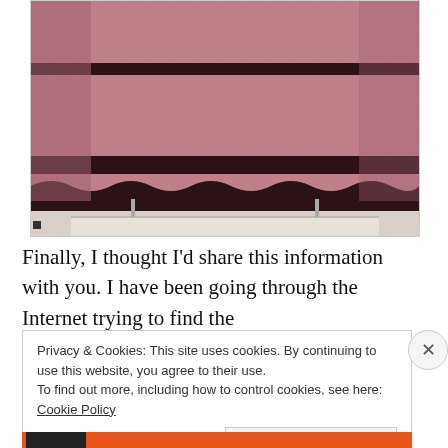[Figure (photo): Close-up photo of a pink/mauve crochet sweater with dark brown/black stripe details, hanging on a white door frame.]
Finally, I thought I’d share this information with you. I have been going through the Internet trying to find the
Privacy & Cookies: This site uses cookies. By continuing to use this website, you agree to their use.
To find out more, including how to control cookies, see here: Cookie Policy
[Close and accept]